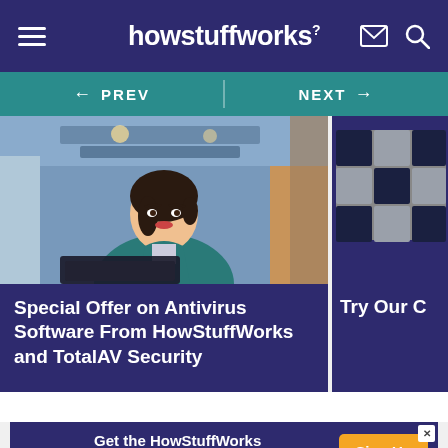howstuffworks
← PREV  |  NEXT →
[Figure (photo): Woman in teal blazer with laptop looking up, in an indoor public space]
Special Offer on Antivirus Software From HowStuffWorks and TotalAV Security
[Figure (screenshot): Partially visible card thumbnail with a checkerboard-style dark grid image and text 'Try Our C...']
Get the HowStuffWorks Newsletter!
Sign Up